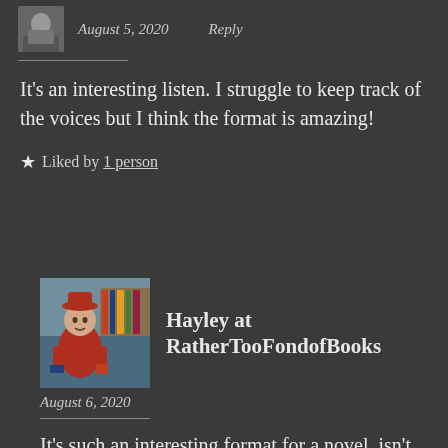[Figure (photo): Small avatar photo of a person in dark clothing, partially visible at top]
August 5, 2020    Reply
It's an interesting listen. I struggle to keep track of the voices but I think the format is amazing!
★ Liked by 1 person
[Figure (illustration): Cartoon-style avatar of Hayley at RatherTooFondofBooks, a character in a red coat]
Hayley at RatherTooFondofBooks
August 6, 2020
It's such an interesting format for a novel, isn't it? I loved it, I'd quite like to